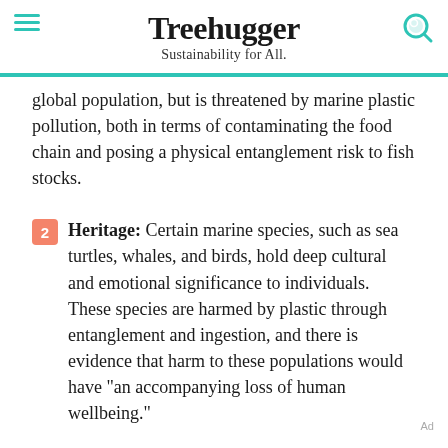Treehugger
Sustainability for All.
global population, but is threatened by marine plastic pollution, both in terms of contaminating the food chain and posing a physical entanglement risk to fish stocks.
Heritage: Certain marine species, such as sea turtles, whales, and birds, hold deep cultural and emotional significance to individuals. These species are harmed by plastic through entanglement and ingestion, and there is evidence that harm to these populations would have "an accompanying loss of human wellbeing."